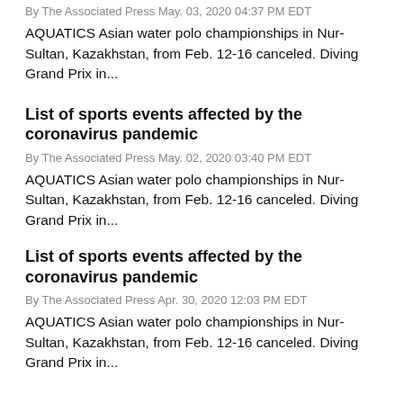By The Associated Press May. 03, 2020 04:37 PM EDT
AQUATICS Asian water polo championships in Nur-Sultan, Kazakhstan, from Feb. 12-16 canceled. Diving Grand Prix in...
List of sports events affected by the coronavirus pandemic
By The Associated Press May. 02, 2020 03:40 PM EDT
AQUATICS Asian water polo championships in Nur-Sultan, Kazakhstan, from Feb. 12-16 canceled. Diving Grand Prix in...
List of sports events affected by the coronavirus pandemic
By The Associated Press Apr. 30, 2020 12:03 PM EDT
AQUATICS Asian water polo championships in Nur-Sultan, Kazakhstan, from Feb. 12-16 canceled. Diving Grand Prix in...